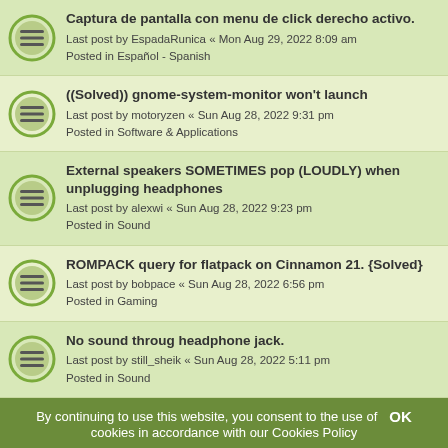Captura de pantalla con menu de click derecho activo.
Last post by EspadaRunica « Mon Aug 29, 2022 8:09 am
Posted in Español - Spanish
((Solved)) gnome-system-monitor won't launch
Last post by motoryzen « Sun Aug 28, 2022 9:31 pm
Posted in Software & Applications
External speakers SOMETIMES pop (LOUDLY) when unplugging headphones
Last post by alexwi « Sun Aug 28, 2022 9:23 pm
Posted in Sound
ROMPACK query for flatpack on Cinnamon 21. {Solved}
Last post by bobpace « Sun Aug 28, 2022 6:56 pm
Posted in Gaming
No sound throug headphone jack.
Last post by still_sheik « Sun Aug 28, 2022 5:11 pm
Posted in Sound
is power-profiles-daemon compatible with Mint Xfce?
Last post by Sameh454 « Sun Aug 28, 2022 1:25 pm
Posted in Software & Applications
LM21: Script for installing working pulseaudio-equalizer
Last post by User-007 « Sun Aug 28, 2022 12:35 pm
Posted in Sound
Digital 5.1 mapping issues
Last post by Petro « Sun Aug 28, 2022 11:35 am
By continuing to use this website, you consent to the use of cookies in accordance with our Cookies Policy
OK